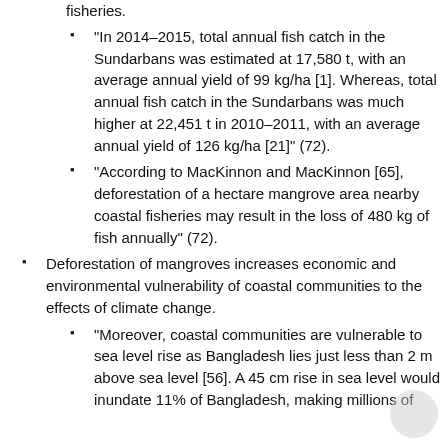fisheries.
“In 2014–2015, total annual fish catch in the Sundarbans was estimated at 17,580 t, with an average annual yield of 99 kg/ha [1]. Whereas, total annual fish catch in the Sundarbans was much higher at 22,451 t in 2010–2011, with an average annual yield of 126 kg/ha [21]” (72).
“According to MacKinnon and MacKinnon [65], deforestation of a hectare mangrove area nearby coastal fisheries may result in the loss of 480 kg of fish annually” (72).
Deforestation of mangroves increases economic and environmental vulnerability of coastal communities to the effects of climate change.
“Moreover, coastal communities are vulnerable to sea level rise as Bangladesh lies just less than 2 m above sea level [56]. A 45 cm rise in sea level would inundate 11% of Bangladesh, making millions of